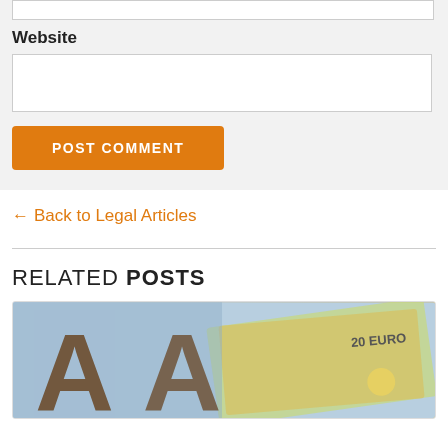Website
POST COMMENT
← Back to Legal Articles
RELATED POSTS
[Figure (photo): Photo showing large wooden letter A characters overlaid on Euro banknotes (20 Euro notes visible), representing legal/financial articles.]